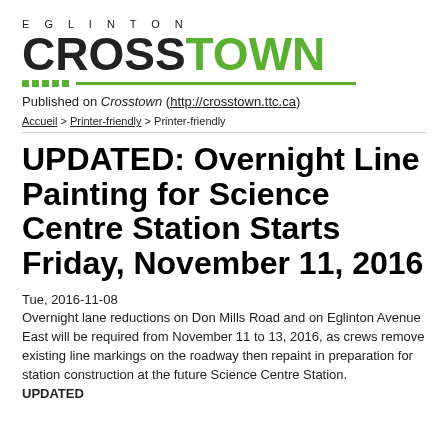[Figure (logo): Eglinton Crosstown logo with green and black text and green decorative line]
Published on Crosstown (http://crosstown.ttc.ca)
Accueil > Printer-friendly > Printer-friendly
UPDATED: Overnight Line Painting for Science Centre Station Starts Friday, November 11, 2016
Tue, 2016-11-08
Overnight lane reductions on Don Mills Road and on Eglinton Avenue East will be required from November 11 to 13, 2016, as crews remove existing line markings on the roadway then repaint in preparation for station construction at the future Science Centre Station.
UPDATED